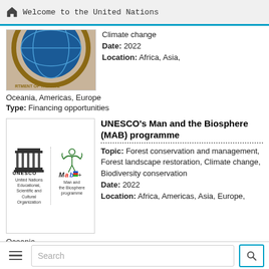Welcome to the United Nations
[Figure (logo): Partial seal/emblem of a United Nations department (clipped at top)]
Climate change
Date: 2022
Location: Africa, Asia, Oceania, Americas, Europe
Type: Financing opportunities
[Figure (logo): UNESCO and Man and the Biosphere (MAB) programme logo]
UNESCO's Man and the Biosphere (MAB) programme
Topic: Forest conservation and management, Forest landscape restoration, Climate change, Biodiversity conservation
Date: 2022
Location: Africa, Americas, Asia, Europe, Oceania